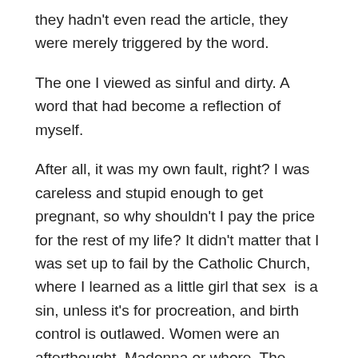they hadn't even read the article, they were merely triggered by the word.
The one I viewed as sinful and dirty. A word that had become a reflection of myself.
After all, it was my own fault, right? I was careless and stupid enough to get pregnant, so why shouldn't I pay the price for the rest of my life? It didn't matter that I was set up to fail by the Catholic Church, where I learned as a little girl that sex is a sin, unless it's for procreation, and birth control is outlawed. Women were an afterthought. Madonna or whore. The Virgin Mary or Mary Magdalene. The mother of Jesus or his charity case, the prostitute.
But that was irrelevant. I never should have let it happen in the first place.